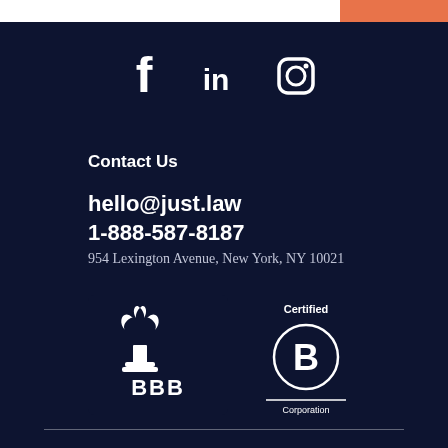[Figure (infographic): Top bar with white and orange sections]
[Figure (infographic): Social media icons: Facebook, LinkedIn, Instagram]
Contact Us
hello@just.law
1-888-587-8187
954 Lexington Avenue, New York, NY 10021
[Figure (logo): BBB (Better Business Bureau) logo and Certified B Corporation logo]